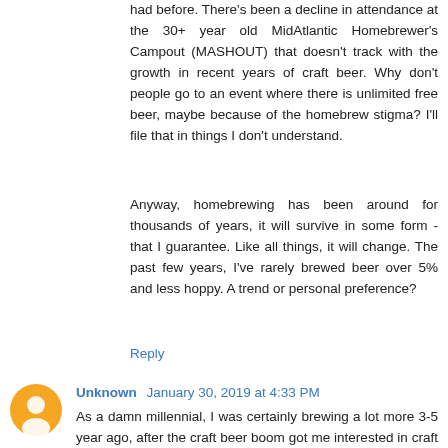had before. There's been a decline in attendance at the 30+ year old MidAtlantic Homebrewer's Campout (MASHOUT) that doesn't track with the growth in recent years of craft beer. Why don't people go to an event where there is unlimited free beer, maybe because of the homebrew stigma? I'll file that in things I don't understand.
Anyway, homebrewing has been around for thousands of years, it will survive in some form - that I guarantee. Like all things, it will change. The past few years, I've rarely brewed beer over 5% and less hoppy. A trend or personal preference?
Reply
Unknown  January 30, 2019 at 4:33 PM
As a damn millennial, I was certainly brewing a lot more 3-5 year ago, after the craft beer boom got me interested in craft beer, I was involved in several different homebrew clubs, and even served as an club officer. I got good at brewing all-grain and made lots of it for my friends. But